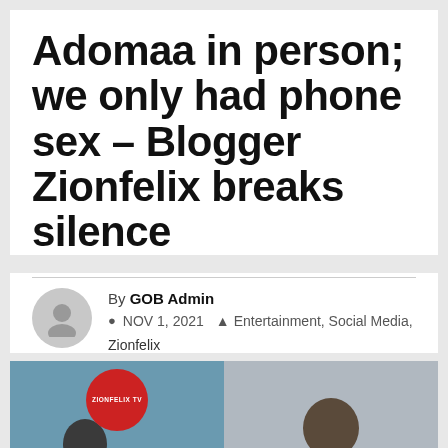Adomaa in person; we only had phone sex – Blogger Zionfelix breaks silence
By GOB Admin
NOV 1, 2021  Entertainment, Social Media, Zionfelix
[Figure (photo): Two people photographed side by side. Left photo shows a man in front of a Zionfelix TV backdrop with text 'WE INFORM YOU'. Right photo shows a smiling man against a plain background.]